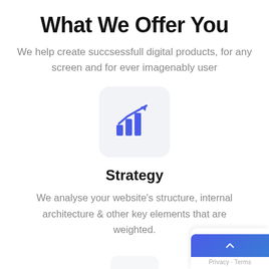What We Offer You
We help create succsessfull digital products, for any screen and for ever imagenably user
[Figure (illustration): A bar chart with an upward trending arrow icon in dark blue/purple color on a light gray rounded card background, representing a strategy or growth concept.]
Strategy
We analyse your website’s structure, internal architecture & other key elements that are weighted.